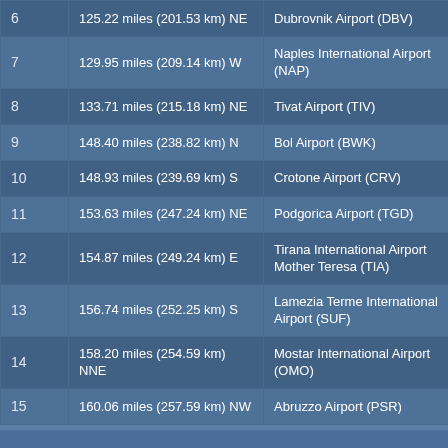| # | Distance | Airport |
| --- | --- | --- |
| 6 | 125.22 miles (201.53 km) NE | Dubrovnik Airport (DBV) |
| 7 | 129.95 miles (209.14 km) W | Naples International Airport (NAP) |
| 8 | 133.71 miles (215.18 km) NE | Tivat Airport (TIV) |
| 9 | 148.40 miles (238.82 km) N | Bol Airport (BWK) |
| 10 | 148.93 miles (239.69 km) S | Crotone Airport (CRV) |
| 11 | 153.63 miles (247.24 km) NE | Podgorica Airport (TGD) |
| 12 | 154.87 miles (249.24 km) E | Tirana International Airport Mother Teresa (TIA) |
| 13 | 156.74 miles (252.25 km) S | Lamezia Terme International Airport (SUF) |
| 14 | 158.20 miles (254.59 km) NNE | Mostar International Airport (OMO) |
| 15 | 160.06 miles (257.59 km) NW | Abruzzo Airport (PSR) |